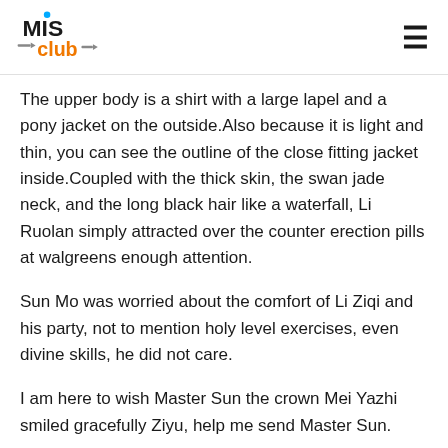MIS Club logo and navigation
The upper body is a shirt with a large lapel and a pony jacket on the outside.Also because it is light and thin, you can see the outline of the close fitting jacket inside.Coupled with the thick skin, the swan jade neck, and the long black hair like a waterfall, Li Ruolan simply attracted over the counter erection pills at walgreens enough attention.
Sun Mo was worried about the comfort of Li Ziqi and his party, not to mention holy level exercises, even divine skills, he did not care.
I am here to wish Master Sun the crown Mei Yazhi smiled gracefully Ziyu, help me send Master Sun.
Ms Zh...